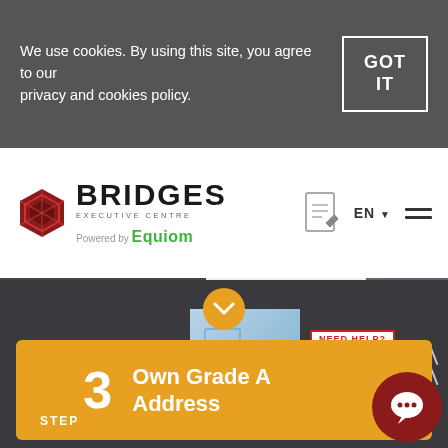We use cookies. By using this site, you agree to our privacy and cookies policy.
GOT IT
[Figure (logo): Bridges Executive Centre logo with hexagon icon, powered by Equiom]
EN ▼
[Figure (infographic): Document edit icon and hamburger menu]
[Figure (infographic): Orange downward chevron arrow circle button]
STEP 3 Own Grade A Address
» CLOSE
[Figure (illustration): Building/office icon]
RELATED BLOGS
[Figure (photo): Glass office building photo]
NEED HELP?
START-U
Why You Director
[Figure (illustration): Dark red chat bubble icon]